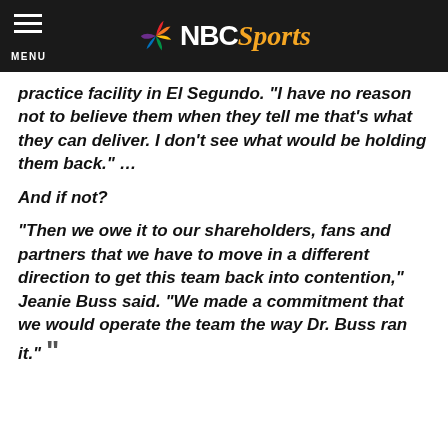NBC Sports — MENU
practice facility in El Segundo. “I have no reason not to believe them when they tell me that’s what they can deliver. I don’t see what would be holding them back.” …
And if not?
“Then we owe it to our shareholders, fans and partners that we have to move in a different direction to get this team back into contention,” Jeanie Buss said. “We made a commitment that we would operate the team the way Dr. Buss ran it.”